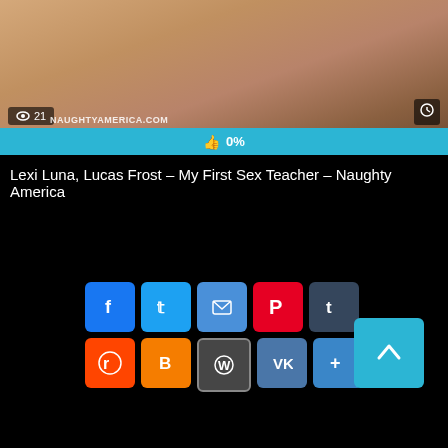[Figure (screenshot): Video thumbnail showing adult content with view count badge showing 21 views, a clock icon, watermark NAUGHTYAMERICA.COM, and a cyan like bar showing 0%]
Lexi Luna, Lucas Frost – My First Sex Teacher – Naughty America
[Figure (infographic): Social sharing buttons: Facebook, Twitter, Email, Pinterest, Tumblr, Reddit, Blogger, WordPress, VK, Share+, and a back-to-top arrow button]